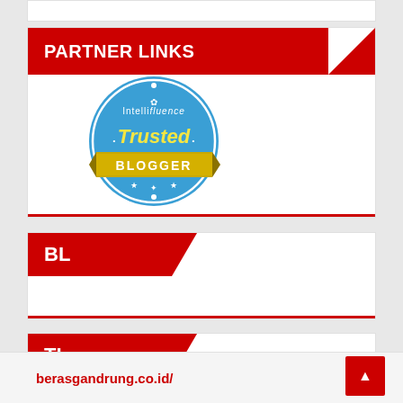PARTNER LINKS
[Figure (logo): Intellifluence Trusted Blogger badge - circular blue badge with gold ribbon banner reading BLOGGER and text 'Trusted' in yellow]
BL
TL
berasgandrung.co.id/